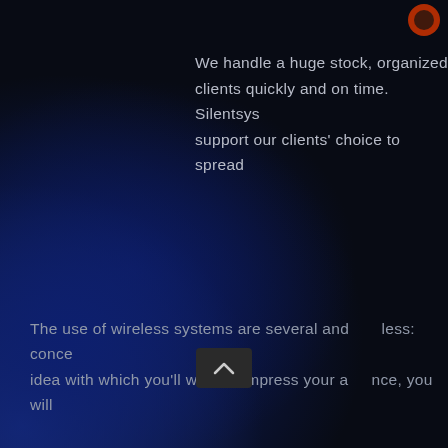[Figure (logo): Orange circular logo partially visible in top right corner]
We handle a huge stock, organized clients quickly and on time. Silentsys support our clients' choice to spread
The use of wireless systems are several and countless: conce idea with which you'll want to impress your audience, you will
[Figure (other): Scroll up button / chevron up navigation button, dark gray rounded rectangle]